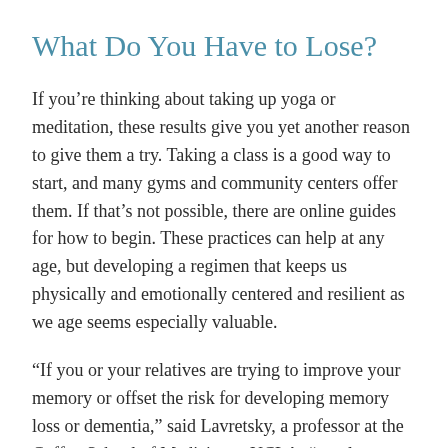What Do You Have to Lose?
If you’re thinking about taking up yoga or meditation, these results give you yet another reason to give them a try. Taking a class is a good way to start, and many gyms and community centers offer them. If that’s not possible, there are online guides for how to begin. These practices can help at any age, but developing a regimen that keeps us physically and emotionally centered and resilient as we age seems especially valuable.
“If you or your relatives are trying to improve your memory or offset the risk for developing memory loss or dementia,” said Lavretsky, a professor at the Geffen School of Medicine at UCLA, “regular practice